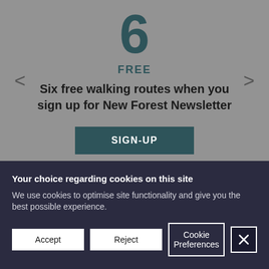6
FREE
Six free walking routes when you sign up for New Forest Newsletter
SIGN-UP
Your choice regarding cookies on this site
We use cookies to optimise site functionality and give you the best possible experience.
Accept
Reject
Cookie Preferences
X